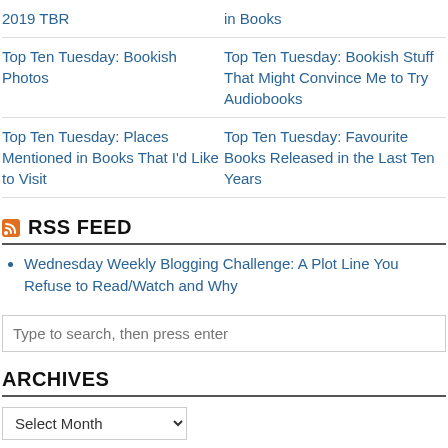| 2019 TBR | in Books |
| Top Ten Tuesday: Bookish Photos | Top Ten Tuesday: Bookish Stuff That Might Convince Me to Try Audiobooks |
| Top Ten Tuesday: Places Mentioned in Books That I'd Like to Visit | Top Ten Tuesday: Favourite Books Released in the Last Ten Years |
RSS FEED
Wednesday Weekly Blogging Challenge: A Plot Line You Refuse to Read/Watch and Why
Type to search, then press enter
ARCHIVES
Select Month